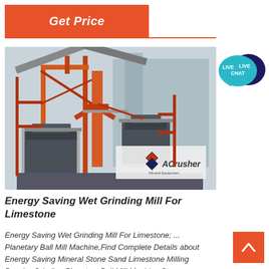Get Price
[Figure (photo): Industrial mining/grinding machine installation with orange steel framework, conveyor belts, and grinding equipment labeled ACrusher]
[Figure (illustration): Live Chat speech bubble icon in teal/navy colors]
Energy Saving Wet Grinding Mill For Limestone
Energy Saving Wet Grinding Mill For Limestone; ... Planetary Ball Mill Machine,Find Complete Details about Energy Saving Mineral Stone Sand Limestone Milling Powder Grinding Planetary Ball Mill Machine,Stone Grinding Machine,Powder Grinding Mill,Planetary Grinding from Mine Mill Supplier or Manufacturer-Zhengzhou Hongji
[Figure (illustration): Back to top arrow button (orange background with upward chevron)]